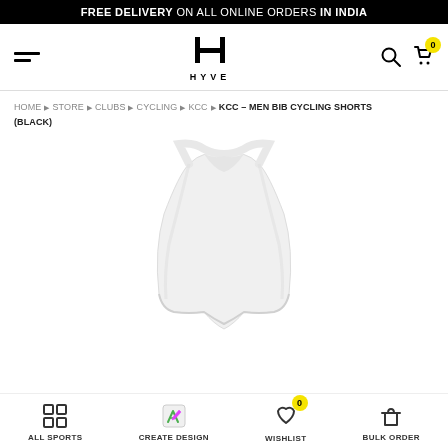FREE DELIVERY ON ALL ONLINE ORDERS IN INDIA
[Figure (logo): HYVE brand logo with stylized H icon and HYVE text below]
HOME ▶ STORE ▶ CLUBS ▶ CYCLING ▶ KCC ▶ KCC – MEN BIB CYCLING SHORTS (BLACK)
[Figure (photo): White cycling bib shorts/bodysuit on a mannequin torso, shown from front on white background]
ALL SPORTS | CREATE DESIGN | WISHLIST 0 | BULK ORDER